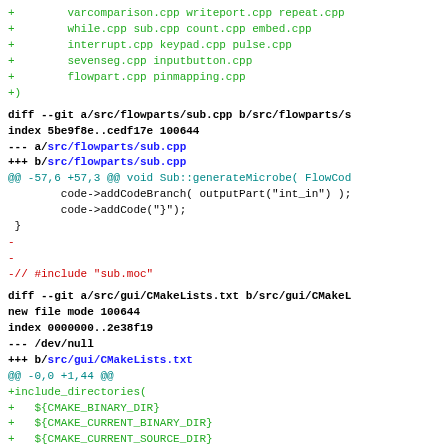+ varcomparison.cpp writeport.cpp repeat.cpp
+ while.cpp sub.cpp count.cpp embed.cpp
+ interrupt.cpp keypad.cpp pulse.cpp
+ sevenseg.cpp inputbutton.cpp
+ flowpart.cpp pinmapping.cpp
+)
diff --git a/src/flowparts/sub.cpp b/src/flowparts/s
index 5be9f8e..cedf17e 100644
--- a/src/flowparts/sub.cpp
+++ b/src/flowparts/sub.cpp
@@ -57,6 +57,3 @@ void Sub::generateMicrobe( FlowCod
        code->addCodeBranch( outputPart("int_in") );
        code->addCode("}");
 }
-
-
-// #include "sub.moc"
diff --git a/src/gui/CMakeLists.txt b/src/gui/CMakeL
new file mode 100644
index 0000000..2e38f19
--- /dev/null
+++ b/src/gui/CMakeLists.txt
@@ -0,0 +1,44 @@
+include_directories(
+   ${CMAKE_BINARY_DIR}
+   ${CMAKE_CURRENT_BINARY_DIR}
+   ${CMAKE_CURRENT_SOURCE_DIR}
+   ${TDE_INCLUDE_DIR}